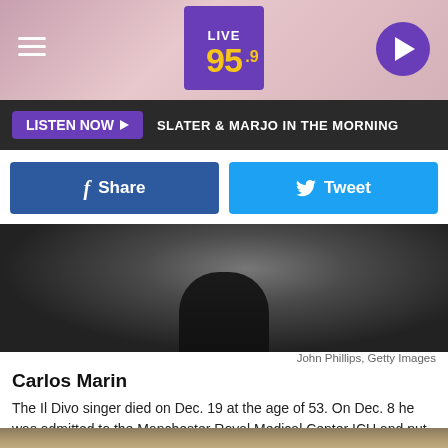[Figure (screenshot): Radio station Live 95.9 website header with hamburger menu, logo, and play button on dark/pink background]
LISTEN NOW ▶  SLATER & MARJO IN THE MORNING
[Figure (screenshot): Facebook Share and Twitter Tweet social sharing buttons]
[Figure (photo): Black and white photo of Carlos Marin]
John Phillips, Getty Images
Carlos Marin
The Il Divo singer died on Dec. 19 at the age of 53. On Dec. 8 he was admitted to the Manchester Royal Medical Center ICU and put into a medically induced coma due to COVID-19. The band postponed their winter UK tour.
[Figure (photo): Partial photo at bottom of page, appears to show a person]